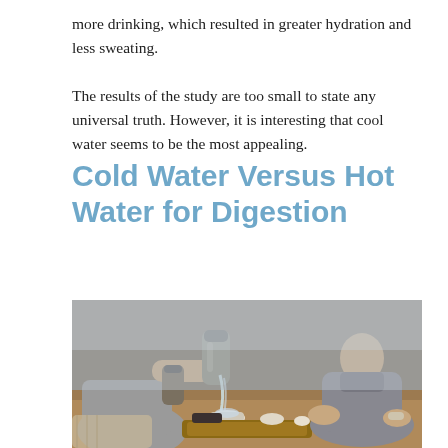more drinking, which resulted in greater hydration and less sweating.
The results of the study are too small to state any universal truth. However, it is interesting that cool water seems to be the most appealing.
Cold Water Versus Hot Water for Digestion
[Figure (photo): Two people sitting cross-legged on the floor around a wooden tea tray with cups; one person is pouring hot water from a stainless steel thermos into a glass cup.]